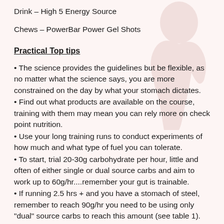Drink – High 5 Energy Source
Chews – PowerBar Power Gel Shots
Practical Top tips
• The science provides the guidelines but be flexible, as no matter what the science says, you are more constrained on the day by what your stomach dictates.
• Find out what products are available on the course, training with them may mean you can rely more on check point nutrition.
• Use your long training runs to conduct experiments of how much and what type of fuel you can tolerate.
• To start, trial 20-30g carbohydrate per hour, little and often of either single or dual source carbs and aim to work up to 60g/hr....remember your gut is trainable.
• If running 2.5 hrs + and you have a stomach of steel, remember to reach 90g/hr you need to be using only "dual" source carbs to reach this amount (see table 1).